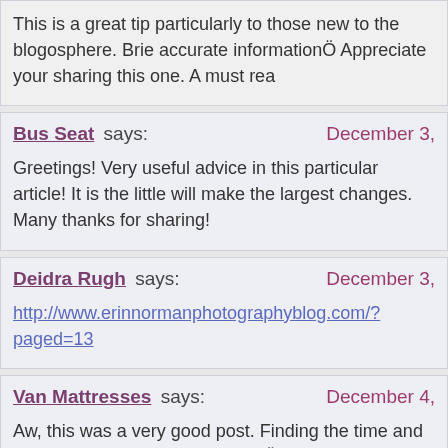This is a great tip particularly to those new to the blogosphere. Brie accurate informationÖ Appreciate your sharing this one. A must rea
Bus Seat says: December 3,
Greetings! Very useful advice in this particular article! It is the little will make the largest changes. Many thanks for sharing!
Deidra Rugh says: December 3,
http://www.erinnormanphotographyblog.com/?paged=13
Van Mattresses says: December 4,
Aw, this was a very good post. Finding the time and actual effort to very good articleÖ but what can I sayÖ I procrastinate a lot and n